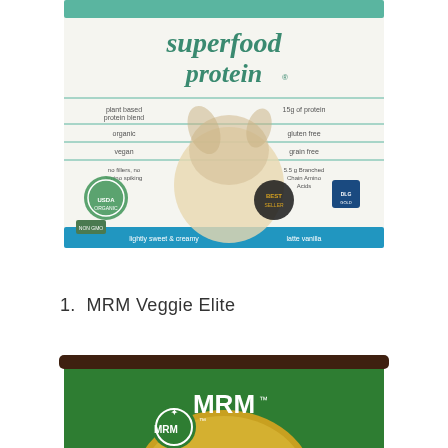[Figure (photo): Product packaging for 'superfood protein' plant-based protein blend. White/blue packaging showing a protein shake with vanilla, various certification badges including organic, vegan, grain-free labels.]
1.  MRM Veggie Elite
[Figure (photo): MRM brand green canister/tub showing 'MRM' logo and 'ALL NATUR...' text partially visible, with gold circular label area.]